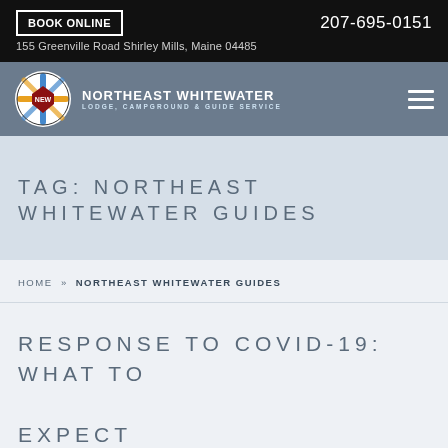BOOK ONLINE | 207-695-0151
155 Greenville Road Shirley Mills, Maine 04485
[Figure (logo): Northeast Whitewater Lodge, Campground & Guide Service logo with circular emblem and paddle graphic]
TAG: NORTHEAST WHITEWATER GUIDES
HOME » NORTHEAST WHITEWATER GUIDES
RESPONSE TO COVID-19: WHAT TO EXPECT